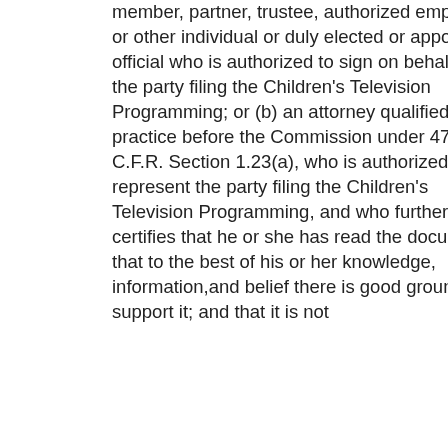member, partner, trustee, authorized employee, or other individual or duly elected or appointed official who is authorized to sign on behalf of the party filing the Children's Television Programming; or (b) an attorney qualified to practice before the Commission under 47 C.F.R. Section 1.23(a), who is authorized to represent the party filing the Children's Television Programming, and who further certifies that he or she has read the document; that to the best of his or her knowledge, information, and belief there is good ground to support it; and that it is not